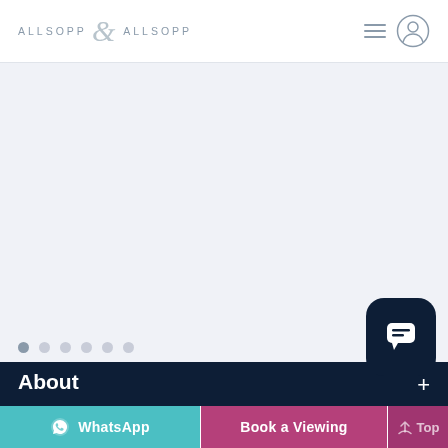ALLSOPP & ALLSOPP
[Figure (screenshot): Light gray-blue empty main content area of a real estate website]
About
WhatsApp  Book a Viewing  Top